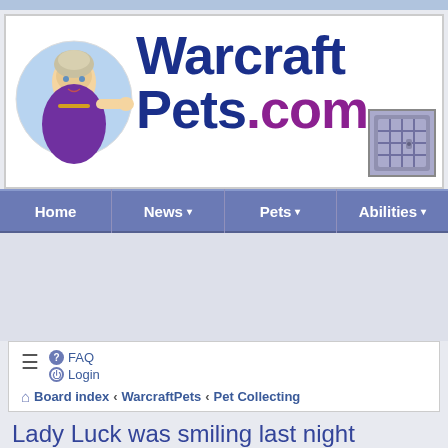[Figure (logo): WarcraftPets.com logo with animated character on left, blue bold text 'WarcraftPets' and purple '.com', pet cage icon on right]
Home | News | Pets | Abilities
FAQ
Login
Board index › WarcraftPets › Pet Collecting
Lady Luck was smiling last night